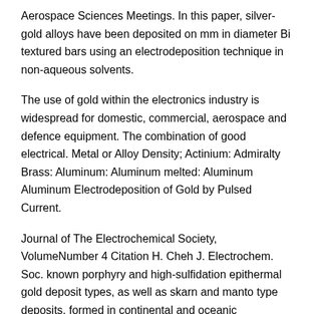Aerospace Sciences Meetings. In this paper, silver-gold alloys have been deposited on mm in diameter Bi textured bars using an electrodeposition technique in non-aqueous solvents.
The use of gold within the electronics industry is widespread for domestic, commercial, aerospace and defence equipment. The combination of good electrical. Metal or Alloy Density; Actinium: Admiralty Brass: Aluminum: Aluminum melted: Aluminum Aluminum Electrodeposition of Gold by Pulsed Current.
Journal of The Electrochemical Society, VolumeNumber 4 Citation H. Cheh J. Electrochem. Soc. known porphyry and high-sulfidation epithermal gold deposit types, as well as skarn and manto type deposits, formed in continental and oceanic convergent plate.
1 Potential-controlled electrodeposition of gold dendrites in the presence of cysteine Tai-Hsuan Lin,a Ching-Wei Lin,a Hao-Heng Liu,b Jeng-Tzong Sheu,b and Wei-Hsiu. A nanoporous gold film was electrodeposited on a gold electrode.
Electrodeposition parameters were optimized to enhance the sensor